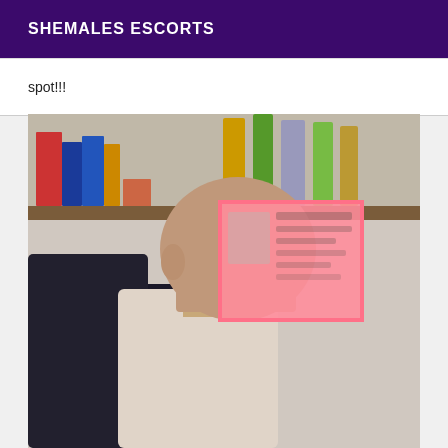SHEMALES ESCORTS
spot!!!
[Figure (photo): A person photographed from below/side angle in a dark jacket and light shirt, with a pink redaction rectangle covering their face. Behind them is a shelf with books and bottles. The face is obscured by a pink/red semi-transparent box that appears to contain a blurred ID card or document.]